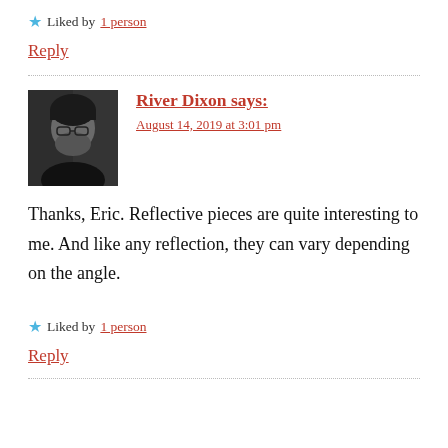★ Liked by 1 person
Reply
River Dixon says: August 14, 2019 at 3:01 pm
Thanks, Eric. Reflective pieces are quite interesting to me. And like any reflection, they can vary depending on the angle.
★ Liked by 1 person
Reply